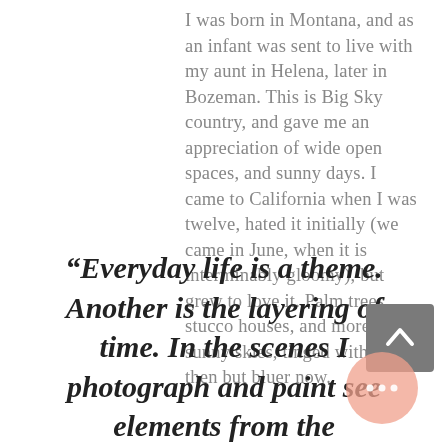I was born in Montana, and as an infant was sent to live with my aunt in Helena, later in Bozeman. This is Big Sky country, and gave me an appreciation of wide open spaces, and sunny days. I came to California when I was twelve, hated it initially (we came in June, when it is interminably gloomy), but grew to love it. Palm trees, stucco houses, and more sunny skies, tinged with smog then but bluer now.
“Everyday life is a theme. Another is the layering of time. In the scenes I photograph and paint see elements from the